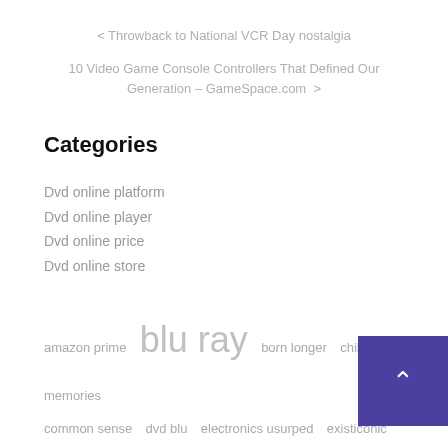< Throwback to National VCR Day nostalgia
10 Video Game Console Controllers That Defined Our Generation – GameSpace.com >
Categories
Dvd online platform
Dvd online player
Dvd online price
Dvd online store
amazon prime  blu ray  born longer  childhood memories  common sense  dvd blu  electronics usurped  existiconic silly  list  longer existiconic  silly toys  technological advancements  trigger ch  united states  year born